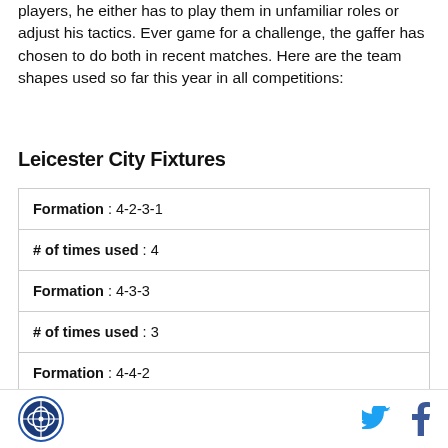players, he either has to play them in unfamiliar roles or adjust his tactics. Ever game for a challenge, the gaffer has chosen to do both in recent matches. Here are the team shapes used so far this year in all competitions:
Leicester City Fixtures
| Formation : 4-2-3-1 |
| # of times used : 4 |
| Formation : 4-3-3 |
| # of times used : 3 |
| Formation : 4-4-2 |
[logo] [twitter] [facebook]